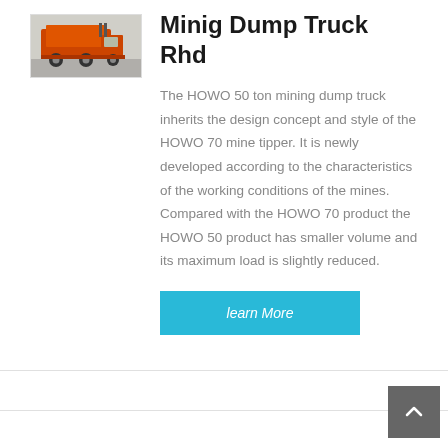[Figure (photo): Orange and white mining dump truck photographed from rear-side angle in a parking area]
Minig Dump Truck Rhd
The HOWO 50 ton mining dump truck inherits the design concept and style of the HOWO 70 mine tipper. It is newly developed according to the characteristics of the working conditions of the mines. Compared with the HOWO 70 product the HOWO 50 product has smaller volume and its maximum load is slightly reduced.
learn More